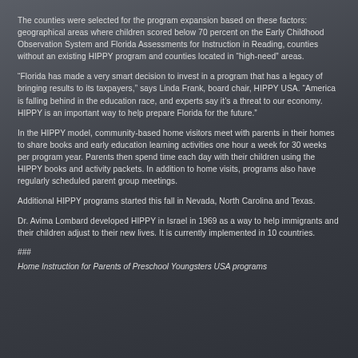The counties were selected for the program expansion based on these factors: geographical areas where children scored below 70 percent on the Early Childhood Observation System and Florida Assessments for Instruction in Reading, counties without an existing HIPPY program and counties located in “high-need” areas.
“Florida has made a very smart decision to invest in a program that has a legacy of bringing results to its taxpayers,” says Linda Frank, board chair, HIPPY USA. “America is falling behind in the education race, and experts say it’s a threat to our economy. HIPPY is an important way to help prepare Florida for the future.”
In the HIPPY model, community-based home visitors meet with parents in their homes to share books and early education learning activities one hour a week for 30 weeks per program year. Parents then spend time each day with their children using the HIPPY books and activity packets. In addition to home visits, programs also have regularly scheduled parent group meetings.
Additional HIPPY programs started this fall in Nevada, North Carolina and Texas.
Dr. Avima Lombard developed HIPPY in Israel in 1969 as a way to help immigrants and their children adjust to their new lives. It is currently implemented in 10 countries.
###
Home Instruction for Parents of Preschool Youngsters USA programs